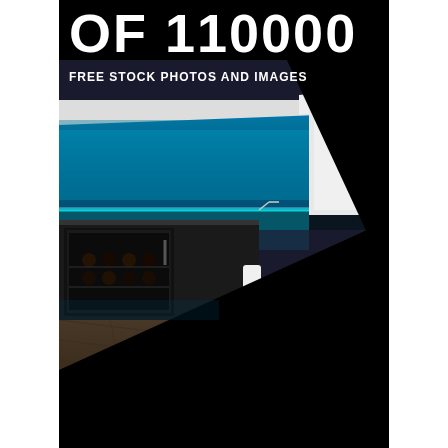of 110000
FREE STOCK PHOTOS AND IMAGES
[Figure (photo): Modern kitchen interior with blue LED strip lighting under white upper cabinets, wine refrigerator on the left, and a white round table with white chairs on the right. Black diagonal overlay on bottom-right area.]